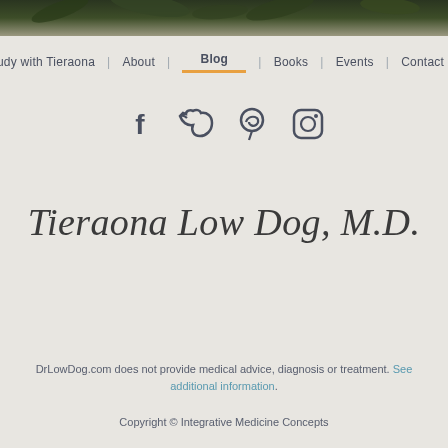[Figure (photo): Dark green foliage/nature photo banner at top of page]
Study with Tieraona | About | Blog | Books | Events | Contact Us
[Figure (infographic): Social media icons: Facebook, Twitter, Pinterest, Instagram]
Tieraona Low Dog, M.D.
DrLowDog.com does not provide medical advice, diagnosis or treatment. See additional information.
Copyright © Integrative Medicine Concepts